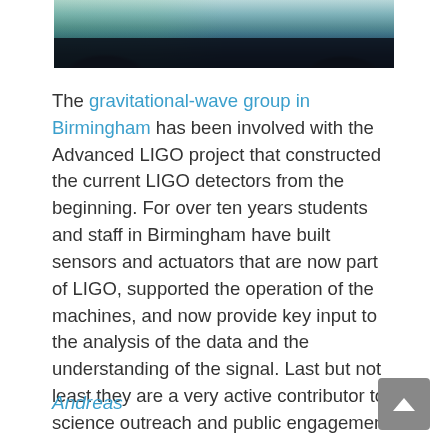[Figure (photo): Partial view of a stage or auditorium with dark background, stage lighting, curtains, and speaker/audio equipment visible at the bottom]
The gravitational-wave group in Birmingham has been involved with the Advanced LIGO project that constructed the current LIGO detectors from the beginning. For over ten years students and staff in Birmingham have built sensors and actuators that are now part of LIGO, supported the operation of the machines, and now provide key input to the analysis of the data and the understanding of the signal. Last but not least they are a very active contributor to science outreach and public engagement.
Andreas